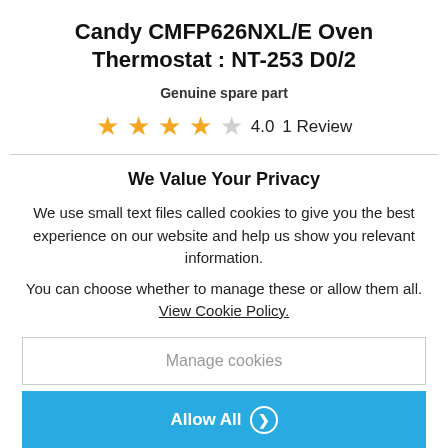Candy CMFP626NXL/E Oven Thermostat : NT-253 D0/2
Genuine spare part
4.0   1 Review
We Value Your Privacy
We use small text files called cookies to give you the best experience on our website and help us show you relevant information.
You can choose whether to manage these or allow them all.
View Cookie Policy.